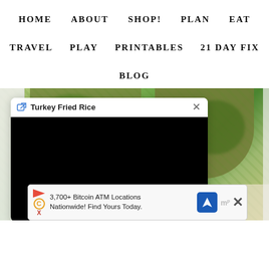HOME   ABOUT   SHOP!   PLAN   EAT
TRAVEL   PLAY   PRINTABLES   21 DAY FIX
BLOG
[Figure (screenshot): Website screenshot showing navigation menu with HOME, ABOUT, SHOP!, PLAN, EAT, TRAVEL, PLAY, PRINTABLES, 21 DAY FIX, BLOG links, a food photo of salad bowls, a video popup titled 'Turkey Fried Rice' with a black video player, and an advertisement banner for '3,700+ Bitcoin ATM Locations Nationwide! Find Yours Today.']